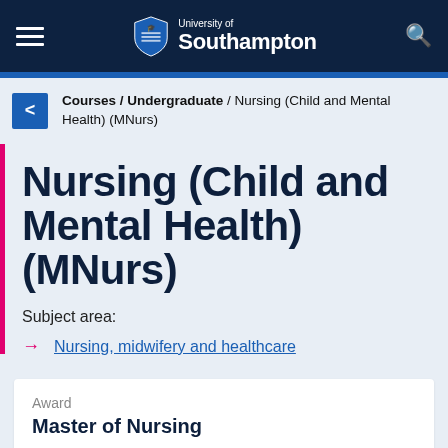University of Southampton
Courses / Undergraduate / Nursing (Child and Mental Health) (MNurs)
Nursing (Child and Mental Health) (MNurs)
Subject area:
Nursing, midwifery and healthcare
Award
Master of Nursing